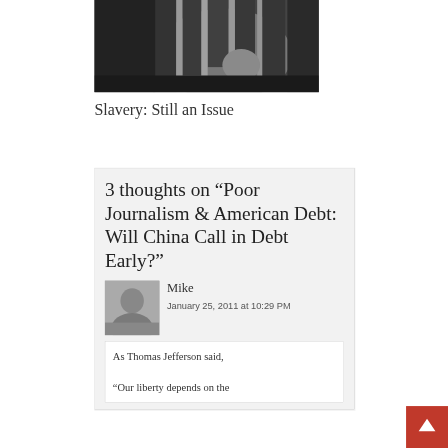[Figure (photo): Black and white close-up photograph of a person's face partially covered by a hand, with fingers appearing cracked or dusty]
Slavery: Still an Issue
3 thoughts on “Poor Journalism & American Debt: Will China Call in Debt Early?”
Mike
January 25, 2011 at 10:29 PM
As Thomas Jefferson said, “Our liberty depends on the